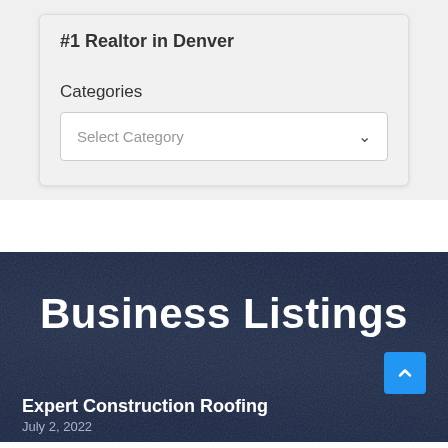#1 Realtor in Denver
Categories
Select Category
Business Listings
Expert Construction Roofing
July 2, 2022